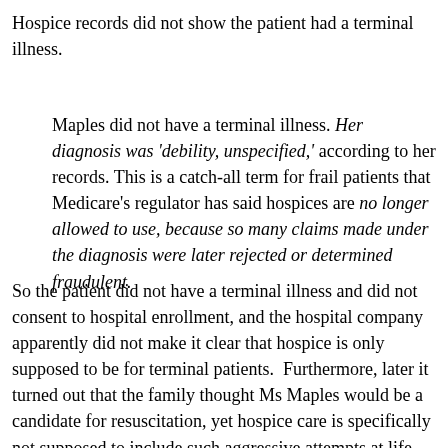Hospice records did not show the patient had a terminal illness.
Maples did not have a terminal illness. Her diagnosis was 'debility, unspecified,' according to her records. This is a catch-all term for frail patients that Medicare's regulator has said hospices are no longer allowed to use, because so many claims made under the diagnosis were later rejected or determined fraudulent.
So the patient did not have a terminal illness and did not consent to hospital enrollment, and the hospital company apparently did not make it clear that hospice is only supposed to be for terminal patients.  Furthermore, later it turned out that the family thought Ms Maples would be a candidate for resuscitation, yet hospice care is specifically not supposed to include such aggressive attempts at life prolongation.  Again, this suggests a serious failure by hospice personnel to communicate clearly at best, and